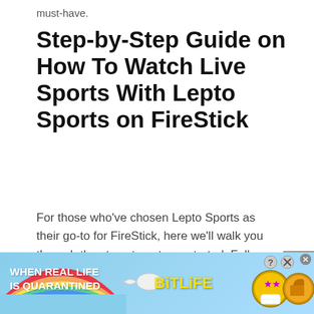must-have.
Step-by-Step Guide on How To Watch Live Sports With Lepto Sports on FireStick
For those who’ve chosen Lepto Sports as their go-to for FireStick, here we’ll walk you through the steps to get you started. Follow these easy steps, and you’re good to go.
[Figure (illustration): Advertisement banner for BitLife mobile game showing rainbow, sperm mascot, BitLife logo in yellow, star-eyes emoji and thumbs-up emoji, with text 'WHEN REAL LIFE IS QUARANTINED']